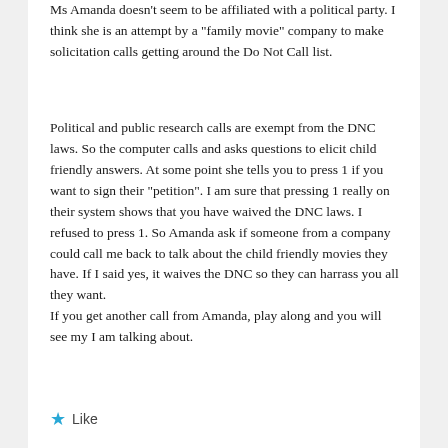Ms Amanda doesn't seem to be affiliated with a political party. I think she is an attempt by a "family movie" company to make solicitation calls getting around the Do Not Call list.
Political and public research calls are exempt from the DNC laws. So the computer calls and asks questions to elicit child friendly answers. At some point she tells you to press 1 if you want to sign their "petition". I am sure that pressing 1 really on their system shows that you have waived the DNC laws. I refused to press 1. So Amanda ask if someone from a company could call me back to talk about the child friendly movies they have. If I said yes, it waives the DNC so they can harrass you all they want.
If you get another call from Amanda, play along and you will see my I am talking about.
Like